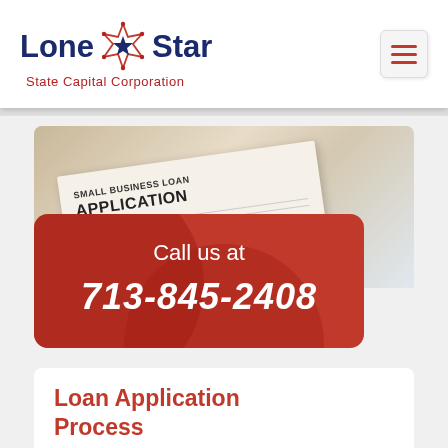[Figure (logo): Lone Star State Capital Corporation logo with star badge icon, dark blue and red text]
[Figure (photo): Photo of a Small Business Loan Application form with a pen on a wooden desk]
Call us at
713-845-2408
Loan Application Process